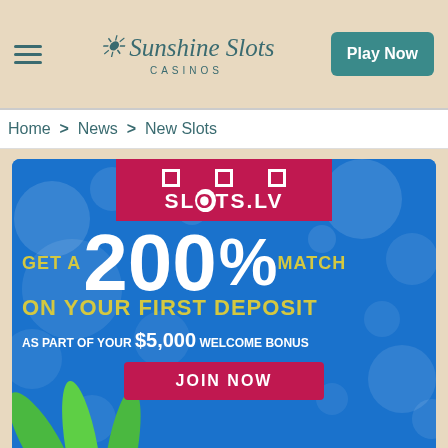Sunshine Slots Casinos | Play Now
Home > News > New Slots
[Figure (illustration): Slots.lv casino advertisement banner with blue bokeh background. Features text: SLOTS.LV, GET A 200% MATCH ON YOUR FIRST DEPOSIT, AS PART OF YOUR $5,000 WELCOME BONUS, JOIN NOW button. Green tropical leaves in bottom left corner.]